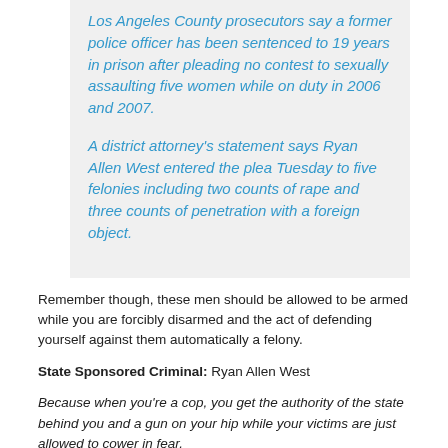Los Angeles County prosecutors say a former police officer has been sentenced to 19 years in prison after pleading no contest to sexually assaulting five women while on duty in 2006 and 2007.
A district attorney's statement says Ryan Allen West entered the plea Tuesday to five felonies including two counts of rape and three counts of penetration with a foreign object.
Remember though, these men should be allowed to be armed while you are forcibly disarmed and the act of defending yourself against them automatically a felony.
State Sponsored Criminal: Ryan Allen West
Because when you're a cop, you get the authority of the state behind you and a gun on your hip while your victims are just allowed to cower in fear.